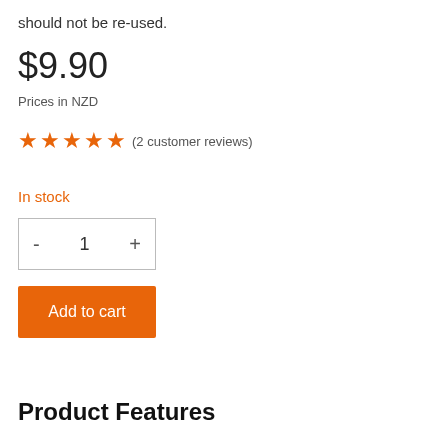should not be re-used.
$9.90
Prices in NZD
★★★★★ (2 customer reviews)
In stock
- 1 +
Add to cart
Product Features